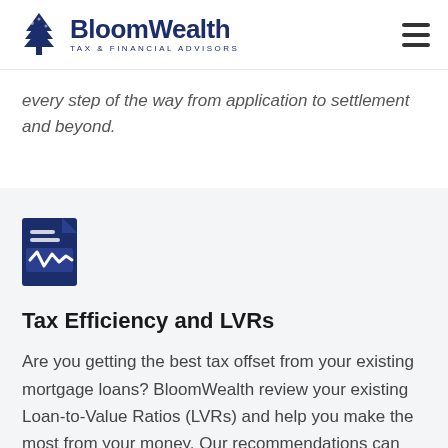BloomWealth Tax & Financial Advisors
every step of the way from application to settlement and beyond.
[Figure (illustration): Dark blue document/file icon with lines and a waveform/signature graphic]
Tax Efficiency and LVRs
Are you getting the best tax offset from your existing mortgage loans? BloomWealth review your existing Loan-to-Value Ratios (LVRs) and help you make the most from your money. Our recommendations can aid both tax